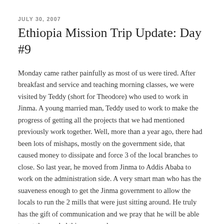JULY 30, 2007
Ethiopia Mission Trip Update: Day #9
Monday came rather painfully as most of us were tired. After breakfast and service and teaching morning classes, we were visited by Teddy (short for Theodore) who used to work in Jinma. A young married man, Teddy used to work to make the progress of getting all the projects that we had mentioned previously work together. Well, more than a year ago, there had been lots of mishaps, mostly on the government side, that caused money to dissipate and force 3 of the local branches to close. So last year, he moved from Jinma to Addis Ababa to work on the administration side. A very smart man who has the suaveness enough to get the Jinma government to allow the locals to run the 2 mills that were just sitting around. He truly has the gift of communication and we pray that he will be able to get the needed things up and